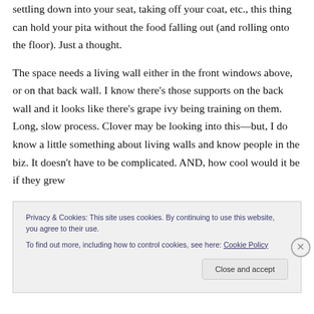settling down into your seat, taking off your coat, etc., this thing can hold your pita without the food falling out (and rolling onto the floor). Just a thought.
The space needs a living wall either in the front windows above, or on that back wall. I know there's those supports on the back wall and it looks like there's grape ivy being training on them. Long, slow process. Clover may be looking into this—but, I do know a little something about living walls and know people in the biz. It doesn't have to be complicated. AND, how cool would it be if they grew
Privacy & Cookies: This site uses cookies. By continuing to use this website, you agree to their use.
To find out more, including how to control cookies, see here: Cookie Policy